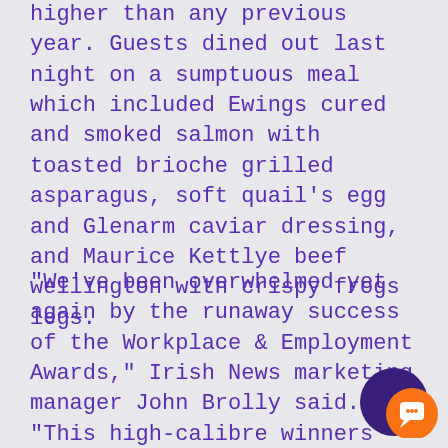higher than any previous year. Guests dined out last night on a sumptuous meal which included Ewings cured and smoked salmon with toasted brioche grilled asparagus, soft quail's egg and Glenarm caviar dressing, and Maurice Kettlye beef wellington with crispy frogs legs.
"We've been overwhelmed yet again by the runaway success of the Workplace & Employment Awards," Irish News marketing manager John Brolly said. "This high-calibre winners' list proves that, as our economy begins to pick up again, Northern Ireland possesses the visionary leadership and flexible working environment to thrive and prosper."
[Figure (other): Chat button widget — dark purple circle with orange circle overlay containing a white chat bubble icon]